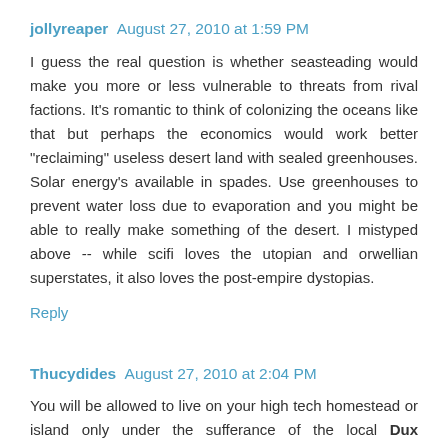jollyreaper August 27, 2010 at 1:59 PM
I guess the real question is whether seasteading would make you more or less vulnerable to threats from rival factions. It's romantic to think of colonizing the oceans like that but perhaps the economics would work better "reclaiming" useless desert land with sealed greenhouses. Solar energy's available in spades. Use greenhouses to prevent water loss due to evaporation and you might be able to really make something of the desert. I mistyped above -- while scifi loves the utopian and orwellian superstates, it also loves the post-empire dystopias.
Reply
Thucydides August 27, 2010 at 2:04 PM
You will be allowed to live on your high tech homestead or island only under the sufferance of the local Dux Bellorium, or whatever term is in fashion at the time after the collapse of the State.